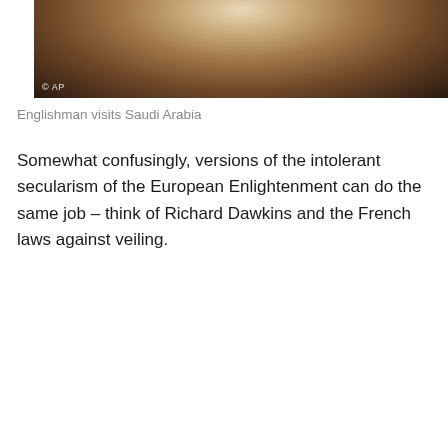[Figure (photo): Partial photo cropped at top of page showing a person dressed in patterned clothing, with AP watermark visible at bottom left]
Englishman visits Saudi Arabia
Somewhat confusingly, versions of the intolerant secularism of the European Enlightenment can do the same job – think of Richard Dawkins and the French laws against veiling.
[Figure (photo): Photo of an elderly woman wearing a red patterned headscarf tied around her head, with other people visible in the blurred background]